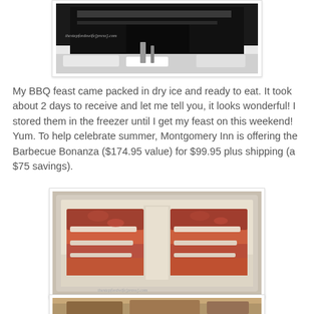[Figure (photo): A partially visible BBQ-related food item packed in dark container with dry ice, watermarked with website text]
My BBQ feast came packed in dry ice and ready to eat. It took about 2 days to receive and let me tell you, it looks wonderful! I stored them in the freezer until I get my feast on this weekend! Yum. To help celebrate summer, Montgomery Inn is offering the Barbecue Bonanza ($174.95 value) for $99.95 plus shipping (a $75 savings).
[Figure (photo): BBQ ribs in a glass baking dish, covered in red sauce, with watermark text at the bottom]
[Figure (photo): Partial view of another BBQ food photo, cut off at the bottom of the page]